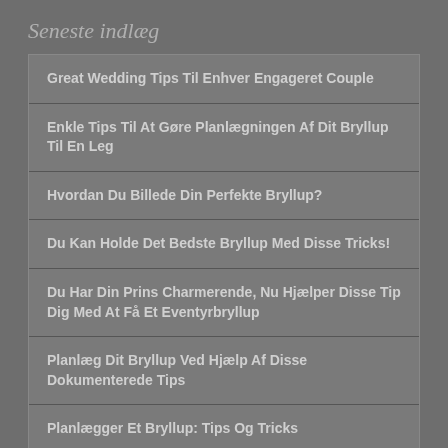Seneste indlæg
Great Wedding Tips Til Enhver Engageret Couple
Enkle Tips Til At Gøre Planlægningen Af Dit Bryllup Til En Leg
Hvordan Du Billede Din Perfekte Bryllup?
Du Kan Holde Det Bedste Bryllup Med Disse Tricks!
Du Har Din Prins Charmerende, Nu Hjælper Disse Tip Dig Med At Få Et Eventyrbryllup
Planlæg Dit Bryllup Ved Hjælp Af Disse Dokumenterede Tips
Planlægger Et Bryllup: Tips Og Tricks
Hvad Du Behøver At Vide Om Planlægningen Af Dit Bryllup
Bryllupper Forenklet: Få De Hurtige Tips, Du Har Brug For At